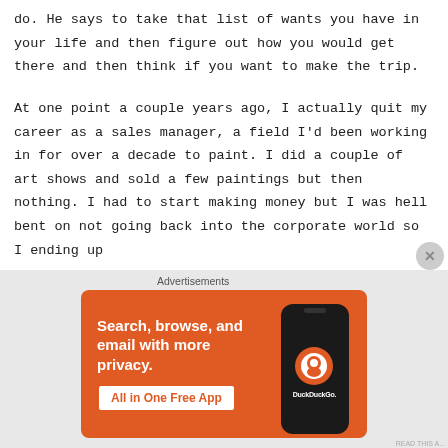do. He says to take that list of wants you have in your life and then figure out how you would get there and then think if you want to make the trip.

At one point a couple years ago, I actually quit my career as a sales manager, a field I'd been working in for over a decade to paint. I did a couple of art shows and sold a few paintings but then nothing. I had to start making money but I was hell bent on not going back into the corporate world so I ending up
[Figure (screenshot): DuckDuckGo advertisement banner with orange background. Text reads 'Search, browse, and email with more privacy. All in One Free App' with a phone image and DuckDuckGo logo.]